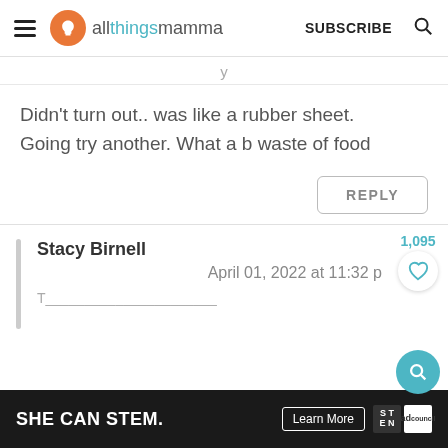allthingsmamma | SUBSCRIBE
Didn't turn out.. was like a rubber sheet. Going try another. What a b waste of food
REPLY
1,095
Stacy Birnell
April 01, 2022 at 11:32 p
[Figure (other): SHE CAN STEM advertisement banner with Learn More button and STEM / Ad Council logos]